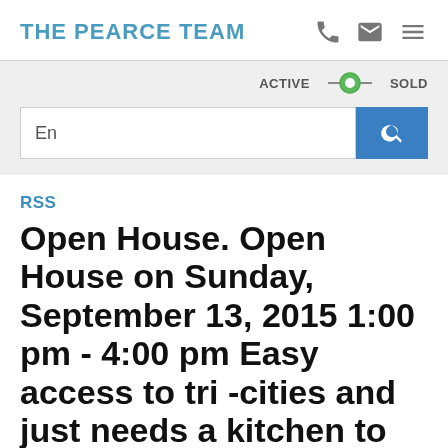THE PEARCE TEAM
[Figure (screenshot): Toggle switch between ACTIVE and SOLD states, with ACTIVE on left and SOLD on right, green toggle indicator in middle]
[Figure (screenshot): Search input field with 'En' placeholder and blue search button with magnifying glass icon]
RSS
Open House. Open House on Sunday, September 13, 2015 1:00 pm - 4:00 pm Easy access to tri -cities and just needs a kitchen to